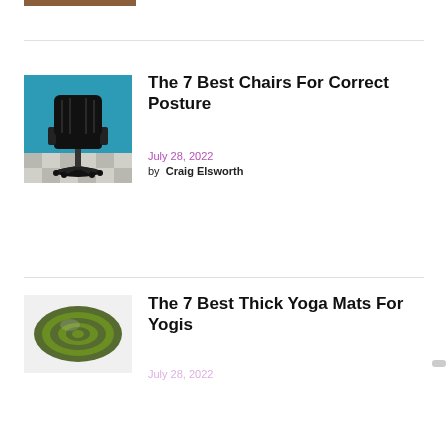[Figure (photo): Partial view of an image at the very top of the page (cropped)]
[Figure (photo): Black ergonomic office chair against a blue wall on a checkered floor]
The 7 Best Chairs For Correct Posture
July 28, 2022
by  Craig Elsworth
[Figure (photo): Rolled green yoga mat on a white background]
The 7 Best Thick Yoga Mats For Yogis
July 28, 2022 (partially visible)